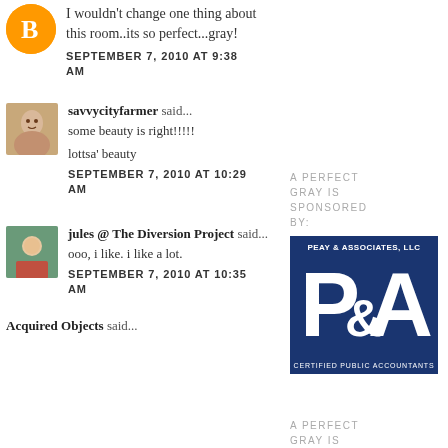I wouldn't change one thing about this room..its so perfect...gray!
SEPTEMBER 7, 2010 AT 9:38 AM
A PERFECT GRAY IS SPONSORED BY:
[Figure (logo): Peay & Associates, LLC - P&A - Certified Public Accountants logo on dark blue background]
savvycityfarmer said...
[Figure (photo): Small square avatar photo of a woman]
some beauty is right!!!!!
lottsa' beauty
SEPTEMBER 7, 2010 AT 10:29 AM
jules @ The Diversion Project said...
[Figure (photo): Small square avatar photo]
ooo, i like. i like a lot.
SEPTEMBER 7, 2010 AT 10:35 AM
A PERFECT GRAY IS SPONSORED BY:
[Figure (photo): rough line - dark background with text and pillow image]
Acquired Objects said...